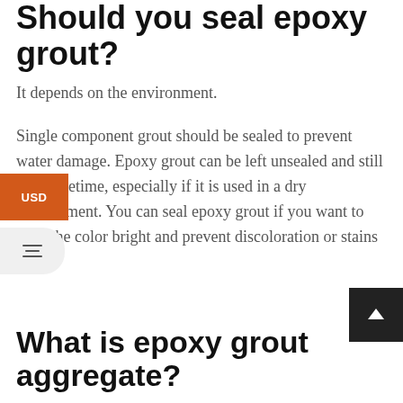Should you seal epoxy grout?
It depends on the environment.
Single component grout should be sealed to prevent water damage. Epoxy grout can be left unsealed and still last a lifetime, especially if it is used in a dry environment. You can seal epoxy grout if you want to keep the color bright and prevent discoloration or stains
What is epoxy grout aggregate?